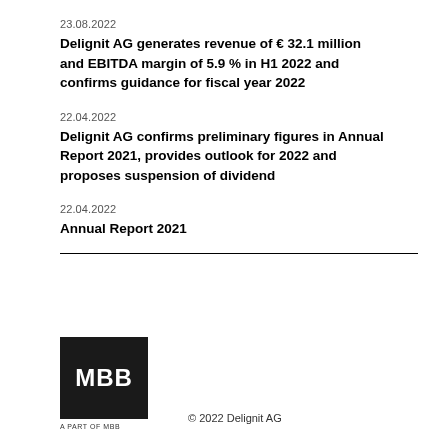23.08.2022
Delignit AG generates revenue of € 32.1 million and EBITDA margin of 5.9 % in H1 2022 and confirms guidance for fiscal year 2022
22.04.2022
Delignit AG confirms preliminary figures in Annual Report 2021, provides outlook for 2022 and proposes suspension of dividend
22.04.2022
Annual Report 2021
[Figure (other): MBB logo — black square with white MBB text]
A PART OF MBB    © 2022 Delignit AG